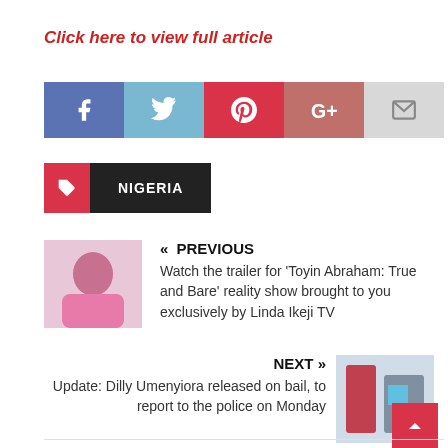Click here to view full article
[Figure (infographic): Social share buttons: Facebook, Twitter, Pinterest, Google+, Email]
NIGERIA (tag label with icon)
« PREVIOUS
Watch the trailer for 'Toyin Abraham: True and Bare' reality show brought to you exclusively by Linda Ikeji TV
NEXT »
Update: Dilly Umenyiora released on bail, to report to the police on Monday